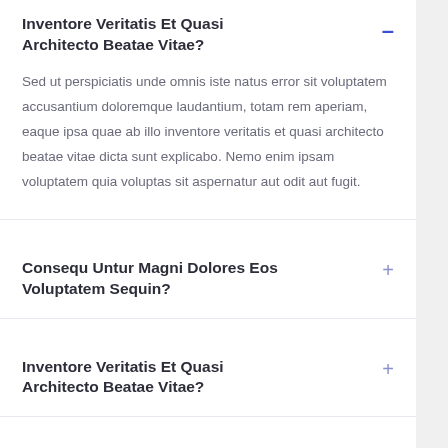Inventore Veritatis Et Quasi Architecto Beatae Vitae?
Sed ut perspiciatis unde omnis iste natus error sit voluptatem accusantium doloremque laudantium, totam rem aperiam, eaque ipsa quae ab illo inventore veritatis et quasi architecto beatae vitae dicta sunt explicabo. Nemo enim ipsam voluptatem quia voluptas sit aspernatur aut odit aut fugit.
Consequ Untur Magni Dolores Eos Voluptatem Sequin?
Inventore Veritatis Et Quasi Architecto Beatae Vitae?
Consequ Untur Magni Dolores Eos Voluptatem Sequin?